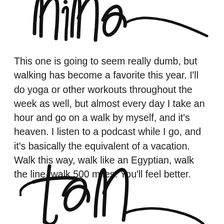nine
This one is going to seem really dumb, but walking has become a favorite this year. I'll do yoga or other workouts throughout the week as well, but almost every day I take an hour and go on a walk by myself, and it's heaven. I listen to a podcast while I go, and it's basically the equivalent of a vacation. Walk this way, walk like an Egyptian, walk the line, walk 500 miles. You'll feel better.
ten